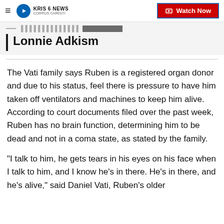KRIS 6 NEWS CORPUS CHRISTI — Watch Now
Lonnie Adkism
The Vati family says Ruben is a registered organ donor and due to his status, feel there is pressure to have him taken off ventilators and machines to keep him alive. According to court documents filed over the past week, Ruben has no brain function, determining him to be dead and not in a coma state, as stated by the family.
"I talk to him, he gets tears in his eyes on his face when I talk to him, and I know he's in there. He's in there, and he's alive," said Daniel Vati, Ruben's older